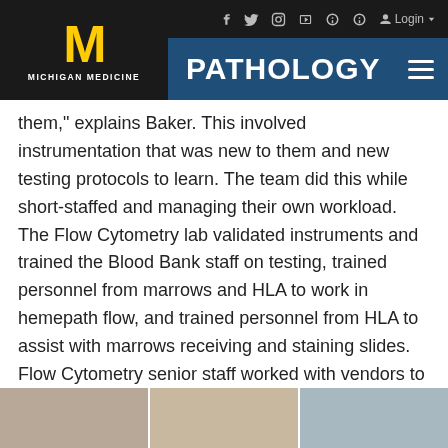PATHOLOGY — Michigan Medicine
them," explains Baker. This involved instrumentation that was new to them and new testing protocols to learn. The team did this while short-staffed and managing their own workload. The Flow Cytometry lab validated instruments and trained the Blood Bank staff on testing, trained personnel from marrows and HLA to work in hemepath flow, and trained personnel from HLA to assist with marrows receiving and staining slides. Flow Cytometry senior staff worked with vendors to assist with instrument moves, installation, and inspection, and performed validations in HLA and Flow with the data approved by section directors.
[Figure (photo): Bottom strip showing partial photographs of people or lab setting]